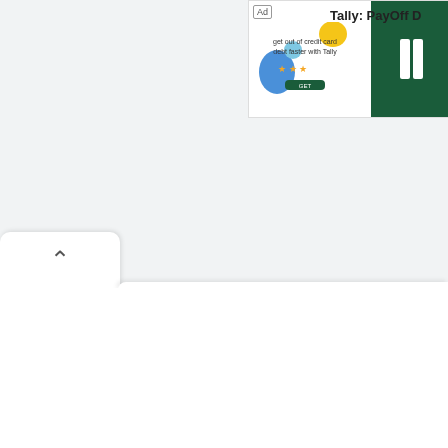[Figure (screenshot): Partial web browser screenshot showing an advertisement banner at top right for Tally PayOff Debt app, with a browser tab/panel chrome element in the middle showing an up-arrow chevron button, and a mostly white/gray empty page area below.]
Ad get out of credit card debt faster with Tally
Tally: PayOff D